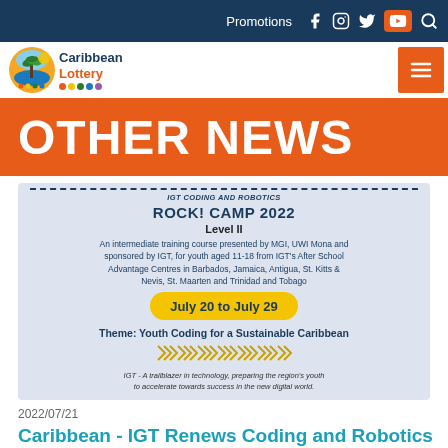Promotions [social icons]
[Figure (logo): Caribbean Lottery logo with palm tree and sun icon, colored dots]
OTHER NEWS
[Figure (infographic): Rock! Camp 2022 Level II promotional card. An intermediate training course presented by MGI, UWI Mona and sponsored by IGT, for youth aged 11-18 from IGT's After School Advantage Centres in Barbados, Jamaica, Antigua, St. Kitts & Nevis, St. Maarten and Trinidad and Tobago. July 20 to July 29. Theme: Youth Coding for a Sustainable Caribbean. IGT - A trailblazer in technology, preparing the region's youth to accelerate towards success in the new digital world.]
2022/07/21
Caribbean - IGT Renews Coding and Robotics Camp with Focus on Creating Sustainability